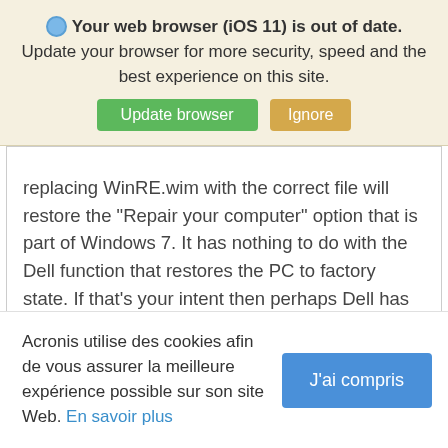Your web browser (iOS 11) is out of date. Update your browser for more security, speed and the best experience on this site.
replacing WinRE.wim with the correct file will restore the "Repair your computer" option that is part of Windows 7. It has nothing to do with the Dell function that restores the PC to factory state. If that's your intent then perhaps Dell has restoration media available. Check their forums.
Acronis utilise des cookies afin de vous assurer la meilleure expérience possible sur son site Web. En savoir plus